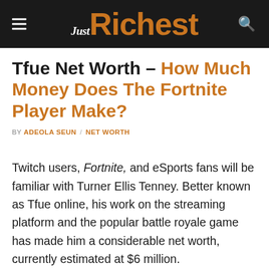Just Richest
Tfue Net Worth – How Much Money Does The Fortnite Player Make?
BY ADEOLA SEUN / NET WORTH
Twitch users, Fortnite, and eSports fans will be familiar with Turner Ellis Tenney. Better known as Tfue online, his work on the streaming platform and the popular battle royale game has made him a considerable net worth, currently estimated at $6 million.